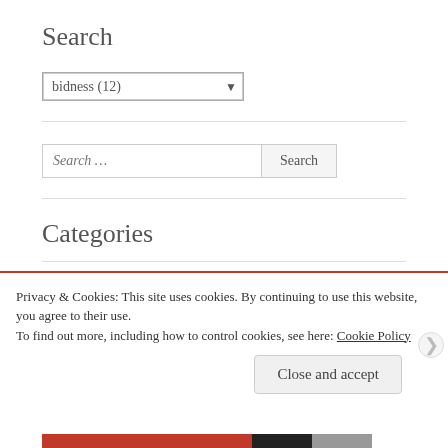Search
bidness  (12)
Search …
Categories
Almea
Privacy & Cookies: This site uses cookies. By continuing to use this website, you agree to their use.
To find out more, including how to control cookies, see here: Cookie Policy
Close and accept